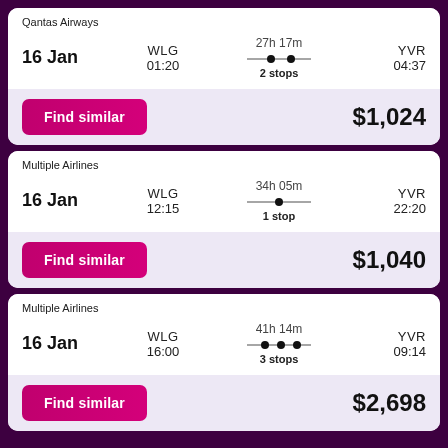Qantas Airways
16 Jan | WLG 01:20 | 27h 17m 2 stops | YVR 04:37
Find similar | $1,024
Multiple Airlines
16 Jan | WLG 12:15 | 34h 05m 1 stop | YVR 22:20
Find similar | $1,040
Multiple Airlines
16 Jan | WLG 16:00 | 41h 14m 3 stops | YVR 09:14
Find similar | $2,698